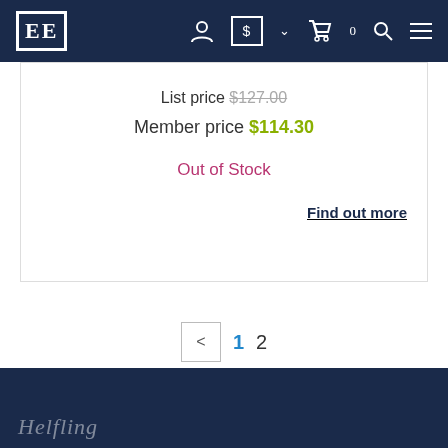[Figure (screenshot): Navigation bar with EE logo and icons for user, currency, cart, search, and menu]
List price $127.00
Member price $114.30
Out of Stock
Find out more
< 1 2